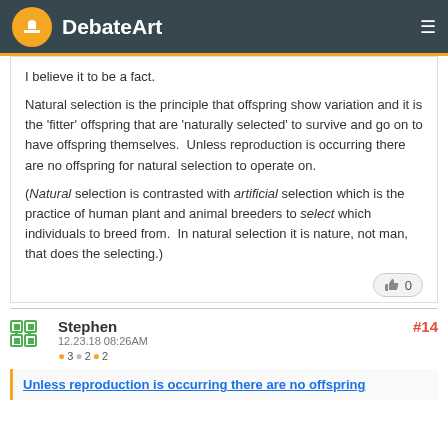DebateArt
I believe it to be a fact.

Natural selection is the principle that offspring show variation and it is the 'fitter' offspring that are 'naturally selected' to survive and go on to have offspring themselves.  Unless reproduction is occurring there are no offspring for natural selection to operate on.

(Natural selection is contrasted with artificial selection which is the practice of human plant and animal breeders to select which individuals to breed from.  In natural selection it is nature, not man, that does the selecting.)
Stephen
12.23.18 08:26AM
● 3 ● 2 ● 2
#14
Unless reproduction is occurring there are no offspring